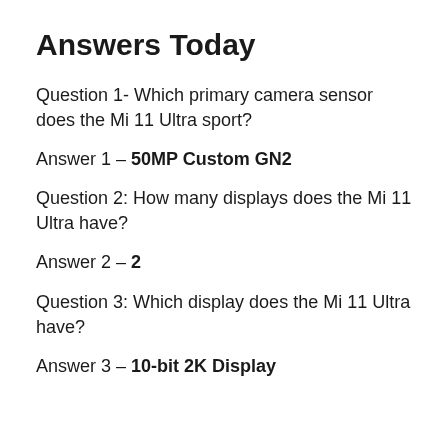Answers Today
Question 1- Which primary camera sensor does the Mi 11 Ultra sport?
Answer 1 – 50MP Custom GN2
Question 2: How many displays does the Mi 11 Ultra have?
Answer 2 – 2
Question 3: Which display does the Mi 11 Ultra have?
Answer 3 – 10-bit 2K Display